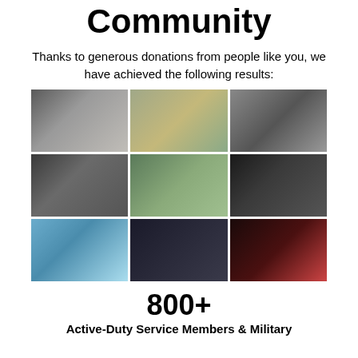Community
Thanks to generous donations from people like you, we have achieved the following results:
[Figure (photo): A 3x3 grid of nine photos showing military and active-duty service members in various activities: group photos in gym, athletic training, outdoor hiking, award ceremonies, a large beach group photo, a handshake, and a person in red light therapy.]
800+
Active-Duty Service Members & Military